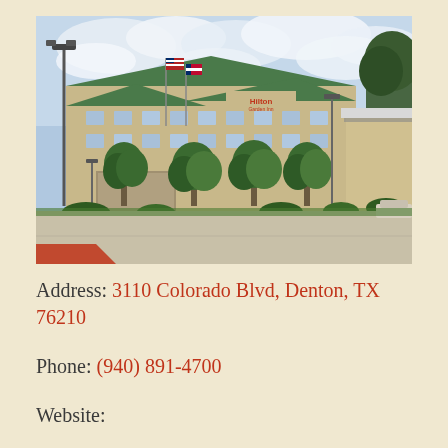[Figure (photo): Exterior photograph of a Hilton Garden Inn hotel building with green roof, flags, parking lot in foreground, trees along the facade, and a canopy entrance on the right side.]
Address: 3110 Colorado Blvd, Denton, TX 76210
Phone: (940) 891-4700
Website: